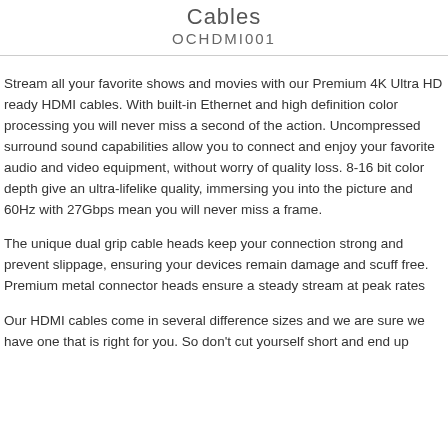Cables
OCHDMI001
Stream all your favorite shows and movies with our Premium 4K Ultra HD ready HDMI cables. With built-in Ethernet and high definition color processing you will never miss a second of the action. Uncompressed surround sound capabilities allow you to connect and enjoy your favorite audio and video equipment, without worry of quality loss. 8-16 bit color depth give an ultra-lifelike quality, immersing you into the picture and 60Hz with 27Gbps mean you will never miss a frame.
The unique dual grip cable heads keep your connection strong and prevent slippage, ensuring your devices remain damage and scuff free. Premium metal connector heads ensure a steady stream at peak rates
Our HDMI cables come in several difference sizes and we are sure we have one that is right for you. So don't cut yourself short and end up